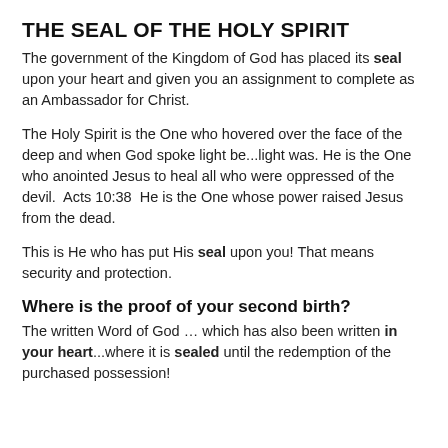THE SEAL OF THE HOLY SPIRIT
The government of the Kingdom of God has placed its seal upon your heart and given you an assignment to complete as an Ambassador for Christ.
The Holy Spirit is the One who hovered over the face of the deep and when God spoke light be...light was. He is the One who anointed Jesus to heal all who were oppressed of the devil.  Acts 10:38  He is the One whose power raised Jesus from the dead.
This is He who has put His seal upon you! That means security and protection.
Where is the proof of your second birth?
The written Word of God … which has also been written in your heart...where it is sealed until the redemption of the purchased possession!